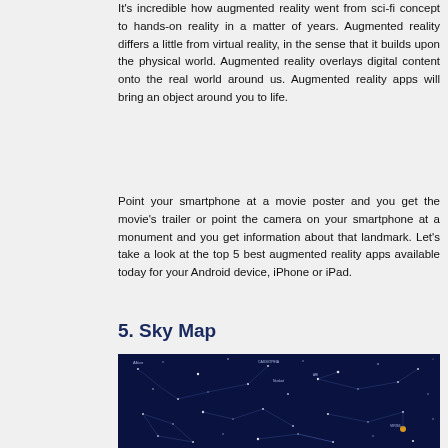It's incredible how augmented reality went from sci-fi concept to hands-on reality in a matter of years. Augmented reality differs a little from virtual reality, in the sense that it builds upon the physical world. Augmented reality overlays digital content onto the real world around us. Augmented reality apps will bring an object around you to life.
Point your smartphone at a movie poster and you get the movie's trailer or point the camera on your smartphone at a monument and you get information about that landmark. Let's take a look at the top 5 best augmented reality apps available today for your Android device, iPhone or iPad.
5. Sky Map
[Figure (photo): A screenshot of the Sky Map augmented reality app showing a dark blue star map with constellation lines, star names, and celestial objects marked on a night sky background.]